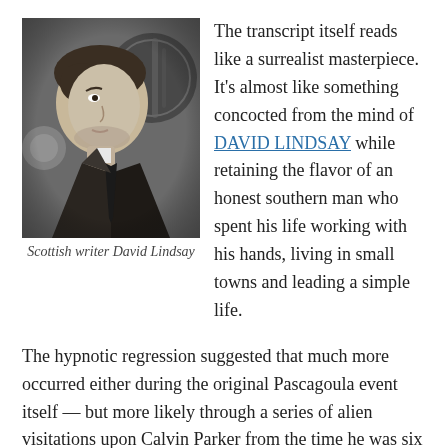[Figure (photo): Black and white photograph of Scottish writer David Lindsay, showing a young man in profile facing slightly right, wearing a suit and tie.]
Scottish writer David Lindsay
The transcript itself reads like a surrealist masterpiece. It’s almost like something concocted from the mind of DAVID LINDSAY while retaining the flavor of an honest southern man who spent his life working with his hands, living in small towns and leading a simple life.
The hypnotic regression suggested that much more occurred either during the original Pascagoula event itself — but more likely through a series of alien visitations upon Calvin Parker from the time he was six years old and throughout his life. Furthermore, the narrative of the transcript includes unsettling, shifting focuses in time, brutal and violent interactions with alien beings and jarring vignettes featuring